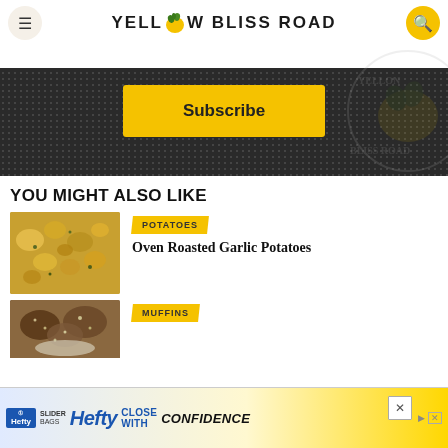YELLOW BLISS ROAD
[Figure (other): Subscribe banner with dark dotted background, Subscribe button in yellow, and watermark logo of Yellow Bliss Road lemon]
YOU MIGHT ALSO LIKE
[Figure (photo): Photo of oven roasted garlic potatoes on a baking tray]
POTATOES
Oven Roasted Garlic Potatoes
[Figure (photo): Photo of muffins with seeds/toppings in a bowl]
MUFFINS
[Figure (infographic): Hefty SLIDER BAGS advertisement - CLOSE WITH CONFIDENCE]